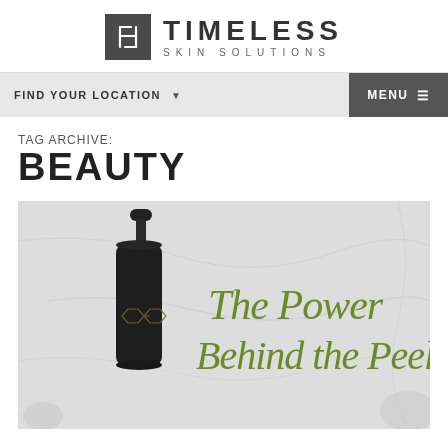[Figure (logo): Timeless Skin Solutions logo with stylized F-H monogram in dark square and brand name text]
FIND YOUR LOCATION  ▼    MENU ≡
TAG ARCHIVE:
BEAUTY
[Figure (photo): Dark glass dropper bottle with a chemical structure motif, alongside script text reading 'The Power Behind the Peel' in olive green on a light marble-textured background]